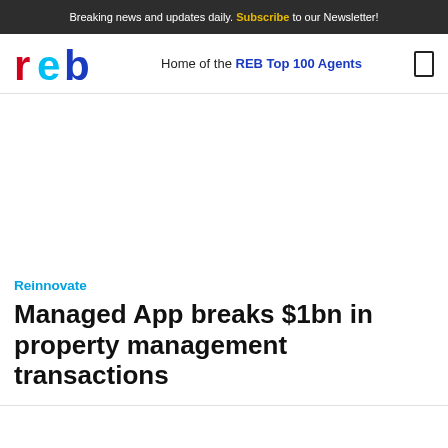Breaking news and updates daily. Subscribe to our Newsletter!
[Figure (logo): REB logo — red 'r', cyan 'e', blue 'b' letters]
Home of the REB Top 100 Agents
Reinnovate
Managed App breaks $1bn in property management transactions